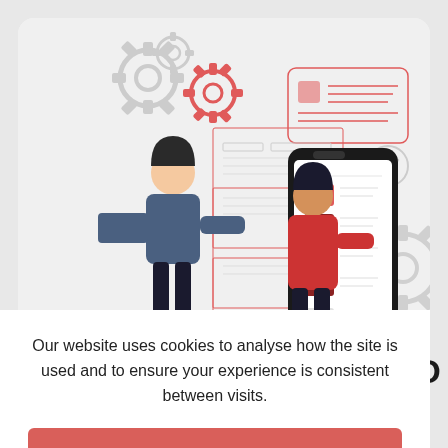[Figure (illustration): Two illustrated figures interacting with a mobile app UI wireframe. One person in dark clothing points at a UI panel, another in red interacts with a large smartphone showing a list interface. Gear icons and UI elements surround them on a light gray background card.]
Our website uses cookies to analyse how the site is used and to ensure your experience is consistent between visits.
Got it!
More information
CLOUD
ive to be the in need of
isive feature